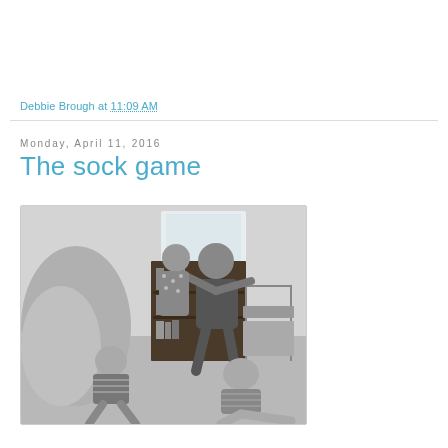Debbie Brough at 11:09 AM
Monday, April 11, 2016
The sock game
[Figure (photo): Black and white photograph of an adult and children playing on a floor indoors, likely the sock game. A bookshelf, folding chairs, and a draped object are visible in the background.]